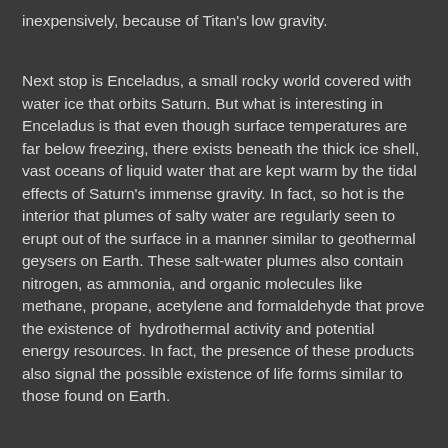inexpensively, because of Titan's low gravity.
Next stop is Enceladus, a small rocky world covered with water ice that orbits Saturn. But what is interesting in Enceladus is that even though surface temperatures are far below freezing, there exists beneath the thick ice shell, vast oceans of liquid water that are kept warm by the tidal effects of Saturn's immense gravity. In fact, so hot is the interior that plumes of salty water are regularly seen to erupt out of the surface in a manner similar to geothermal geysers on Earth. These salt-water plumes also contain nitrogen, as ammonia, and organic molecules like methane, propane, acetylene and formaldehyde that prove the existence of hydrothermal activity and potential energy resources. In fact, the presence of these products also signal the possible existence of life forms similar to those found on Earth.
Our third and final stop on this current tour of possible locations for our second home is Europa, another ice and rocky satellite that orbits Jupiter. Europa too has a vast, subterranean ocean of